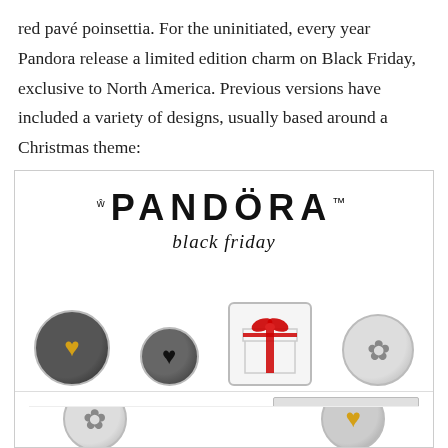red pavé poinsettia. For the uninitiated, every year Pandora release a limited edition charm on Black Friday, exclusive to North America. Previous versions have included a variety of designs, usually based around a Christmas theme:
[Figure (photo): Screenshot of a Pandora jewelry website showing Black Friday charms including a heart charm, black heart charm, gift box charm, and snowflake charm, overlaid with a cookie consent banner]